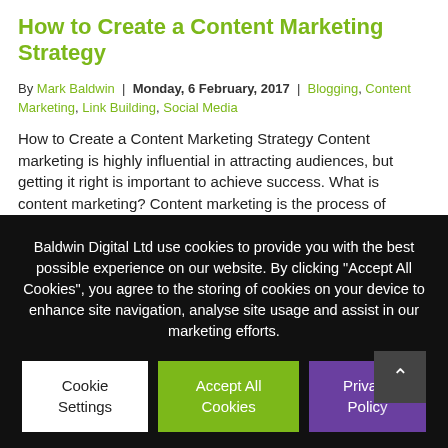How to Create a Content Marketing Strategy
By Mark Baldwin | Monday, 6 February, 2017 | Blogging, Content Marketing, Link Building, Social Media
How to Create a Content Marketing Strategy Content marketing is highly influential in attracting audiences, but getting it right is important to achieve success. What is content marketing? Content marketing is the process of creating and publishing content that's of use and relevance to target audiences, so they'll visit your site,
Baldwin Digital Ltd use cookies to provide you with the best possible experience on our website. By clicking "Accept All Cookies", you agree to the storing of cookies on your device to enhance site navigation, analyse site usage and assist in our marketing efforts.
Cookie Settings
Accept All Cookies
Privacy Policy